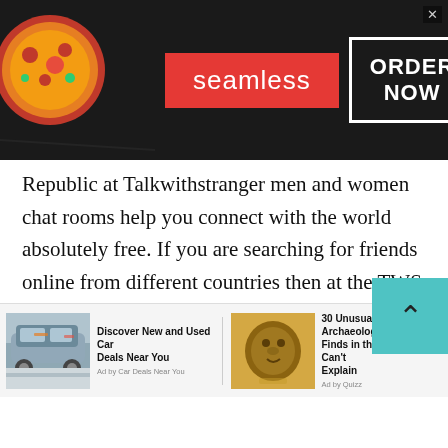[Figure (screenshot): Seamless food delivery advertisement banner with pizza image on left, red Seamless badge in center, and ORDER NOW button on right against dark background]
Republic at Talkwithstranger men and women chat rooms help you connect with the world absolutely free. If you are searching for friends online from different countries then at the TWS country specific chat option you will surely find your best partner.
Well, if you think socializing or meeting male and female partners is quite impossible during this pandemic era then it's nothing like that. Talking to female and male strangers during this pandemi
[Figure (screenshot): Bottom advertisement bar with two ad units: left showing car with 'Discover New and Used Car Deals Near You' by Car Deals Near You, right showing archaeological artifact with '30 Unusual Archaeological Finds in the Us We Still Can't Explain' by Quizz]